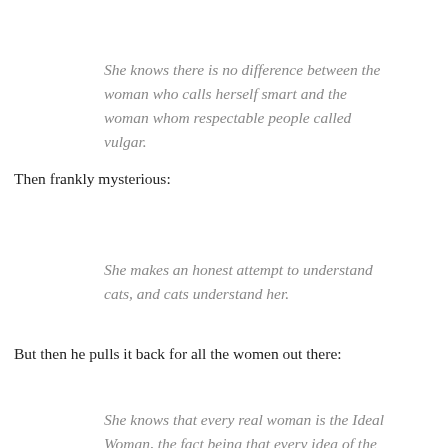She knows there is no difference between the woman who calls herself smart and the woman whom respectable people called vulgar.
Then frankly mysterious:
She makes an honest attempt to understand cats, and cats understand her.
But then he pulls it back for all the women out there:
She knows that every real woman is the Ideal Woman, the fact being that every idea of the